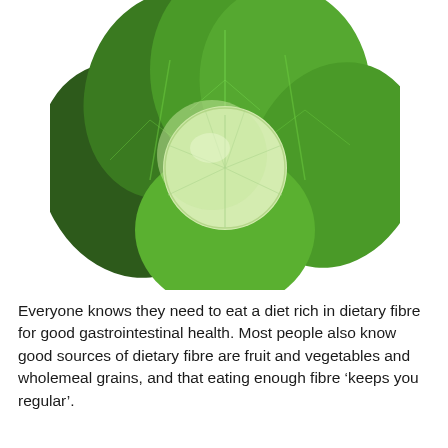[Figure (photo): Overhead view of a cabbage head with large green and dark green outer leaves spread around a pale white-green center head, on a white background.]
Everyone knows they need to eat a diet rich in dietary fibre for good gastrointestinal health. Most people also know good sources of dietary fibre are fruit and vegetables and wholemeal grains, and that eating enough fibre ‘keeps you regular’.